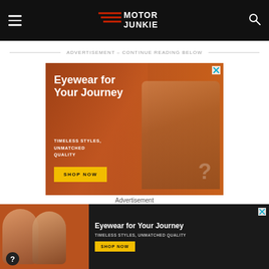Motor Junkie - navigation header with hamburger menu and search icon
ADVERTISEMENT - CONTINUE READING BELOW
[Figure (photo): Advertisement banner for eyewear. Two women wearing stylish sunglasses against an orange/brown background. Text reads: 'Eyewear for Your Journey', 'TIMELESS STYLES, UNMATCHED QUALITY', with a yellow 'SHOP NOW' button. Close X button in top right corner.]
Advertisement
[Figure (photo): Smaller sticky/bottom advertisement banner. Left side shows two women with sunglasses on brown/orange background with a question mark logo. Right side on dark background reads 'Eyewear for Your Journey', 'TIMELESS STYLES, UNMATCHED QUALITY', with yellow 'SHOP NOW' button. Close X top right.]